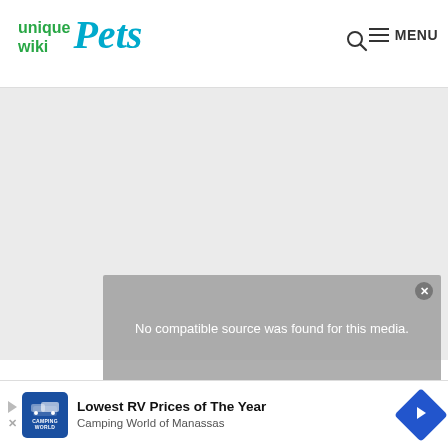[Figure (logo): unique wiki Pets logo — 'unique wiki' in green bold text, 'Pets' in large teal cursive/italic font]
[Figure (screenshot): Navigation bar with search icon (magnifying glass) and hamburger MENU button on the right]
[Figure (screenshot): Large light gray content area below header, representing an ad or media placeholder]
[Figure (screenshot): Semi-transparent gray video overlay with close button and message: 'No compatible source was found for this media.']
[Figure (screenshot): Advertisement banner at bottom: Camping World logo, 'Lowest RV Prices of The Year', 'Camping World of Manassas', blue navigation arrow icon on right]